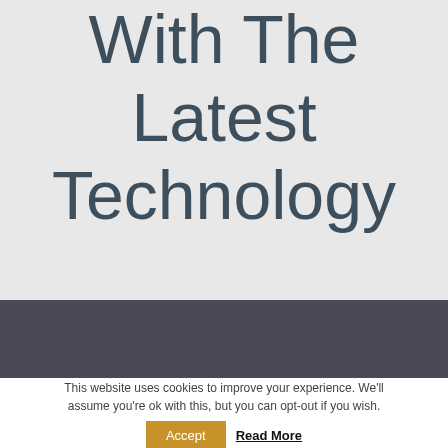With The Latest Technology
This website uses cookies to improve your experience. We'll assume you're ok with this, but you can opt-out if you wish.
Accept  Read More